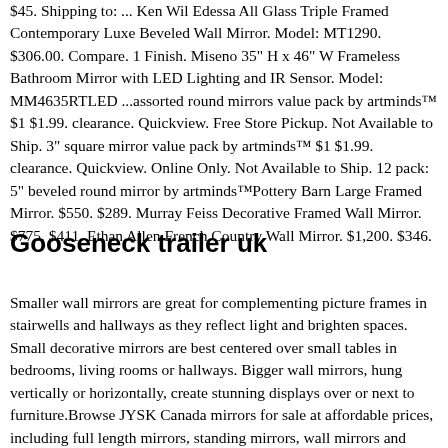$45. Shipping to: ... Ken Wil Edessa All Glass Triple Framed Contemporary Luxe Beveled Wall Mirror. Model: MT1290. $306.00. Compare. 1 Finish. Miseno 35" H x 46" W Frameless Bathroom Mirror with LED Lighting and IR Sensor. Model: MM4635RTLED ...assorted round mirrors value pack by artminds™ $1 $1.99. clearance. Quickview. Free Store Pickup. Not Available to Ship. 3" square mirror value pack by artminds™ $1 $1.99. clearance. Quickview. Online Only. Not Available to Ship. 12 pack: 5" beveled round mirror by artminds™Pottery Barn Large Framed Mirror. $550. $289. Murray Feiss Decorative Framed Wall Mirror. $775. $411. Ethan Allen French Country Wall Mirror. $1,200. $346.
Gooseneck trailer uk
Smaller wall mirrors are great for complementing picture frames in stairwells and hallways as they reflect light and brighten spaces. Small decorative mirrors are best centered over small tables in bedrooms, living rooms or hallways. Bigger wall mirrors, hung vertically or horizontally, create stunning displays over or next to furniture.Browse JYSK Canada mirrors for sale at affordable prices, including full length mirrors, standing mirrors, wall mirrors and more. Get your JYSK mirror today! The store will not work correctly in the case when cookies are disabled. ... On Sale . Full Length Mirror (69 x 158 cm) Learn More. View details . Pickup